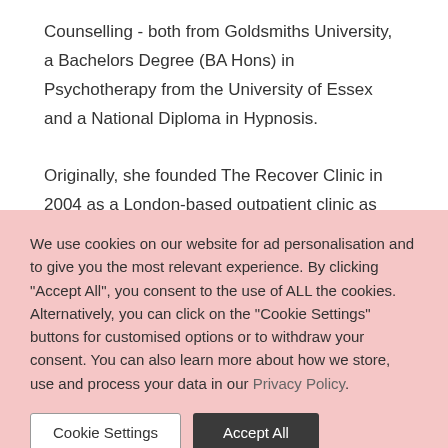Counselling - both from Goldsmiths University, a Bachelors Degree (BA Hons) in Psychotherapy from the University of Essex and a National Diploma in Hypnosis.

Originally, she founded The Recover Clinic in 2004 as a London-based outpatient clinic as she wanted to build
We use cookies on our website for ad personalisation and to give you the most relevant experience. By clicking "Accept All", you consent to the use of ALL the cookies. Alternatively, you can click on the "Cookie Settings" buttons for customised options or to withdraw your consent. You can also learn more about how we store, use and process your data in our Privacy Policy.
Cookie Settings
Accept All